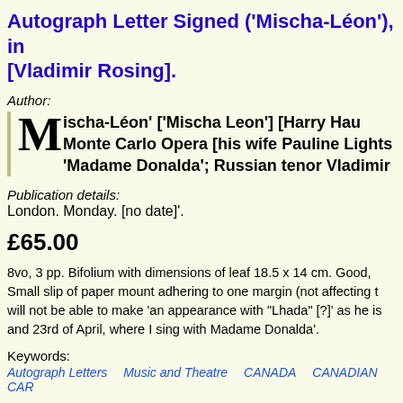Autograph Letter Signed ('Mischa-Léon'), in [Vladimir Rosing].
Author:
Mischa-Léon' ['Mischa Leon'] [Harry Hau Monte Carlo Opera [his wife Pauline Lights 'Madame Donalda'; Russian tenor Vladimir
Publication details:
London. Monday. [no date]'.
£65.00
8vo, 3 pp. Bifolium with dimensions of leaf 18.5 x 14 cm. Good, Small slip of paper mount adhering to one margin (not affecting t will not be able to make 'an appearance with "Lhada" [?]' as he is and 23rd of April, where I sing with Madame Donalda'.
Keywords:
Autograph Letters   Music and Theatre   CANADA   CANADIAN   CAR